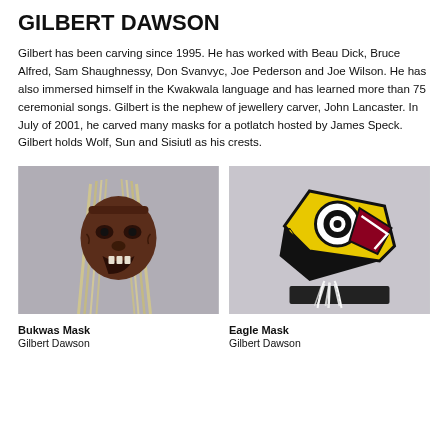GILBERT DAWSON
Gilbert has been carving since 1995. He has worked with Beau Dick, Bruce Alfred, Sam Shaughnessy, Don Svanvyc, Joe Pederson and Joe Wilson. He has also immersed himself in the Kwakwala language and has learned more than 75 ceremonial songs. Gilbert is the nephew of jewellery carver, John Lancaster. In July of 2001, he carved many masks for a potlatch hosted by James Speck. Gilbert holds Wolf, Sun and Sisiutl as his crests.
[Figure (photo): Bukwas Mask — a dark carved wooden mask with long blond/white hair strands, displayed against a light grey background.]
[Figure (photo): Eagle Mask — a brightly colored carved mask with yellow, red, black, and white paint featuring an eagle design with an eye motif, displayed on a black rectangular stand with white feathers, against a light grey background.]
Bukwas Mask
Gilbert Dawson
Eagle Mask
Gilbert Dawson